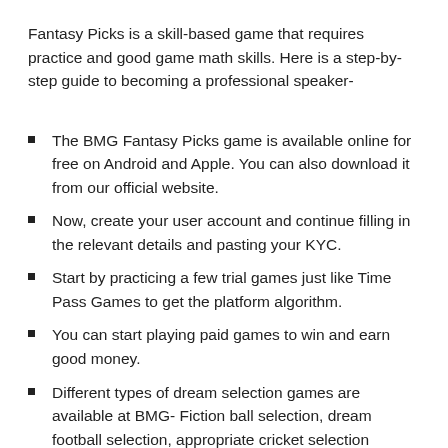Fantasy Picks is a skill-based game that requires practice and good game math skills. Here is a step-by-step guide to becoming a professional speaker-
The BMG Fantasy Picks game is available online for free on Android and Apple. You can also download it from our official website.
Now, create your user account and continue filling in the relevant details and pasting your KYC.
Start by practicing a few trial games just like Time Pass Games to get the platform algorithm.
You can start playing paid games to win and earn good money.
Different types of dream selection games are available at BMG- Fiction ball selection, dream football selection, appropriate cricket selection including